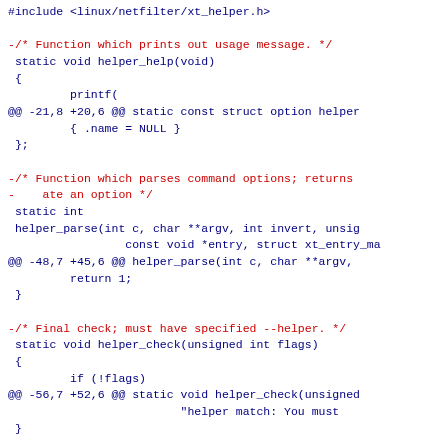#include <linux/netfilter/xt_helper.h>
-/* Function which prints out usage message. */
 static void helper_help(void)
 {
         printf(
@@ -21,8 +20,6 @@ static const struct option helper
{ .name = NULL }
 };
-/* Function which parses command options; returns
-    ate an option */
 static int
 helper_parse(int c, char **argv, int invert, unsig
                 const void *entry, struct xt_entry_ma
@@ -48,7 +45,6 @@ helper_parse(int c, char **argv,
return 1;
 }
-/* Final check; must have specified --helper. */
 static void helper_check(unsigned int flags)
 {
         if (!flags)
@@ -56,7 +52,6 @@ static void helper_check(unsigned
                         "helper match: You must
}
-/* Prints out the info. */
 static void
 helper_print(const void *ip, const struct xt_entry